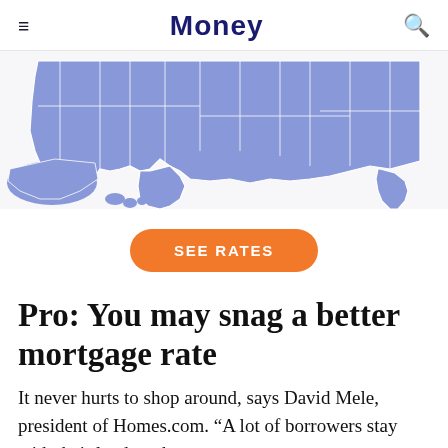Money
[Figure (map): Partial map of the United States shown in blue/periwinkle color with white state borders, showing southern states including Texas, Alaska inset, and other southern/eastern states.]
SEE RATES
Pro: You may snag a better mortgage rate
It never hurts to shop around, says David Mele, president of Homes.com. “A lot of borrowers stay with their lender when